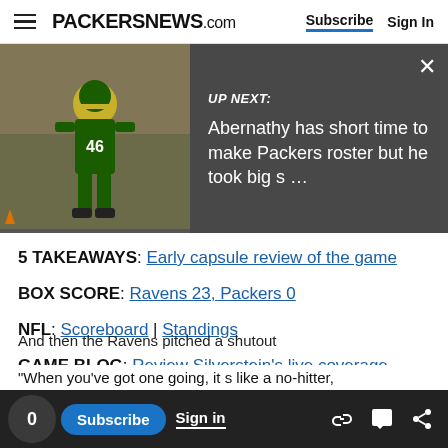PACKERSNEWS.com | Subscribe | Sign In
[Figure (screenshot): UP NEXT promotional banner with football player image. Text reads: UP NEXT: Abernathy has short time to make Packers roster but he took big s ...]
5 TAKEAWAYS: Early capsule review of the game
BOX SCORE: Ravens 23, Packers 0
NFL: Scoreboard | Standings
GAME BLOG: Review Silverstein's live coverage
PACKERS CHAT: Ryan Wood at 1 p.m. Monday
And then the Ravens pitched a shutout...
When you've got one going, it s like a no-hitter,